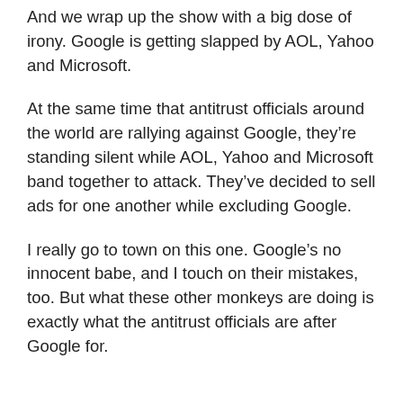And we wrap up the show with a big dose of irony. Google is getting slapped by AOL, Yahoo and Microsoft.
At the same time that antitrust officials around the world are rallying against Google, they're standing silent while AOL, Yahoo and Microsoft band together to attack. They've decided to sell ads for one another while excluding Google.
I really go to town on this one. Google's no innocent babe, and I touch on their mistakes, too. But what these other monkeys are doing is exactly what the antitrust officials are after Google for.